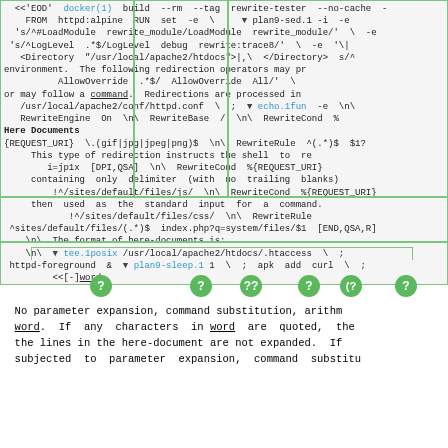[Figure (screenshot): A code block showing a Dockerfile and shell script with syntax highlighting. Contains commands like docker build, FROM httpd:alpine, RUN set -e, plan9-sed.1, echo.1fun, tee.1posix, plan9-sleep.1, whatis.1, curl commands, and Apache rewrite rules. Green vertical lines annotate sections. Blue hyperlinks for command references.]
Here Documents
This type of redirection instructs the shell to re containing only delimiter (with no trailing blanks) then used as the standard input for a command.
The format of here-documents is:
[Figure (infographic): Diagram showing here-document syntax with labels: <<[-]word, here-document, delimiter, with green question mark circles pointing to parts of a curl and EOD command line.]
No parameter expansion, command substitution, arithm word. If any characters in word are quoted, the the lines in the here-document are not expanded. If subjected to parameter expansion, command substitu